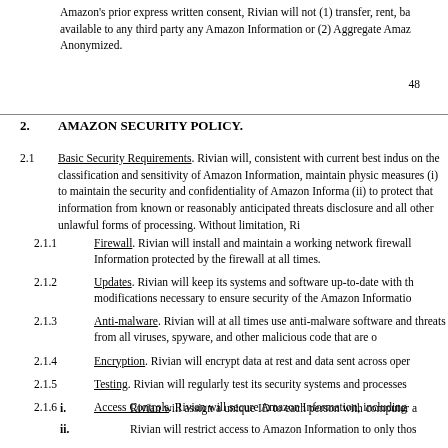Amazon's prior express written consent, Rivian will not (1) transfer, rent, ba available to any third party any Amazon Information or (2) Aggregate Amaz Anonymized.
48
2.  AMAZON SECURITY POLICY.
2.1 Basic Security Requirements. Rivian will, consistent with current best indus on the classification and sensitivity of Amazon Information, maintain physic measures (i) to maintain the security and confidentiality of Amazon Informa (ii) to protect that information from known or reasonably anticipated threats disclosure and all other unlawful forms of processing. Without limitation, Ri
2.1.1 Firewall. Rivian will install and maintain a working network firewall Information protected by the firewall at all times.
2.1.2 Updates. Rivian will keep its systems and software up-to-date with th modifications necessary to ensure security of the Amazon Informatio
2.1.3 Anti-malware. Rivian will at all times use anti-malware software and threats from all viruses, spyware, and other malicious code that are o
2.1.4 Encryption. Rivian will encrypt data at rest and data sent across oper
2.1.5 Testing. Rivian will regularly test its security systems and processes
2.1.6 Access Controls. Rivian will secure Amazon Information, including
i. Rivian will assign a unique ID to each person with computer a
ii. Rivian will restrict access to Amazon Information to only thos